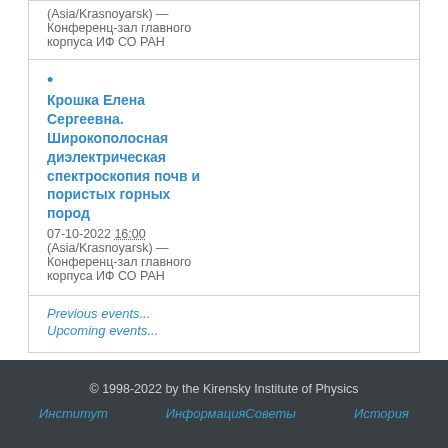(Asia/Krasnoyarsk) — Конференц-зал главного корпуса ИФ СО РАН
Крошка Елена Сергеевна. Широкополосная диэлектрическая спектроскопия почв и пористых горных пород
07-10-2022 16:00 (Asia/Krasnoyarsk) — Конференц-зал главного корпуса ИФ СО РАН
Previous events...
Upcoming events...
© 1998-2022 by the Kirensky Institute of Physics
Институт  ИнформацияСоветы  История